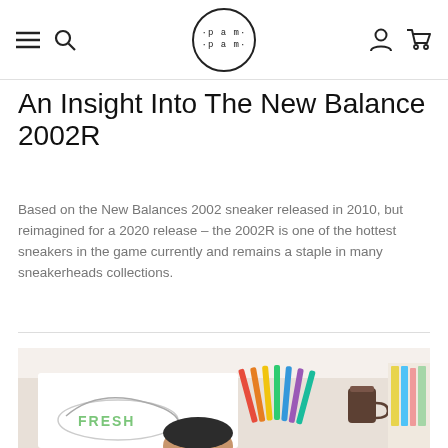pam pam — navigation bar with hamburger, search, logo, user, cart icons
An Insight Into The New Balance 2002R
Based on the New Balances 2002 sneaker released in 2010, but reimagined for a 2020 release – the 2002R is one of the hottest sneakers in the game currently and remains a staple in many sneakerheads collections.
[Figure (photo): A person drawing/sketching a sneaker design on paper at a desk covered with colourful markers and art supplies, with a coffee cup and shelves of books/folders visible.]